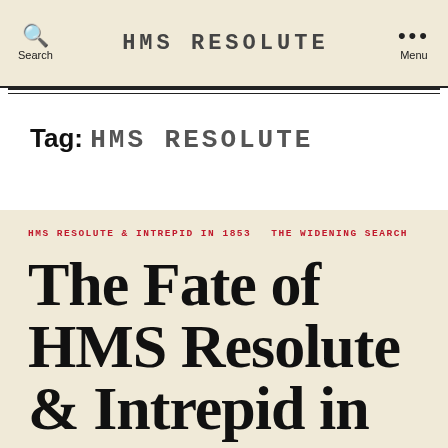Search   HMS RESOLUTE   Menu
Tag: HMS RESOLUTE
HMS RESOLUTE & INTREPID IN 1853   THE WIDENING SEARCH
The Fate of HMS Resolute & Intrepid in autumn 1853